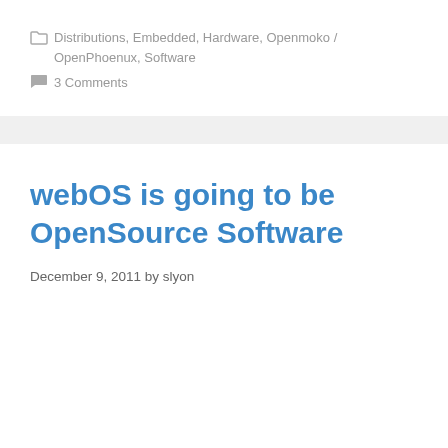Distributions, Embedded, Hardware, Openmoko / OpenPhoenux, Software
3 Comments
webOS is going to be OpenSource Software
December 9, 2011 by slyon